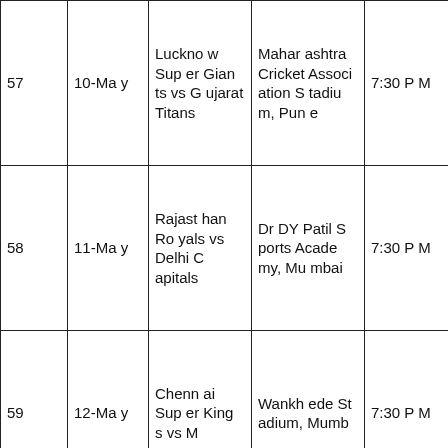| # | Date | Match | Venue | Time |  |
| --- | --- | --- | --- | --- | --- |
| 57 | 10-May | Lucknow Super Giants vs Gujarat Titans | Maharashtra Cricket Association Stadium, Pune | 7:30 PM |  |
| 58 | 11-May | Rajasthan Royals vs Delhi Capitals | Dr DY Patil Sports Academy, Mumbai | 7:30 PM |  |
| 59 | 12-May | Chennai Super Kings vs M | Wankhede Stadium, Mumb | 7:30 PM |  |